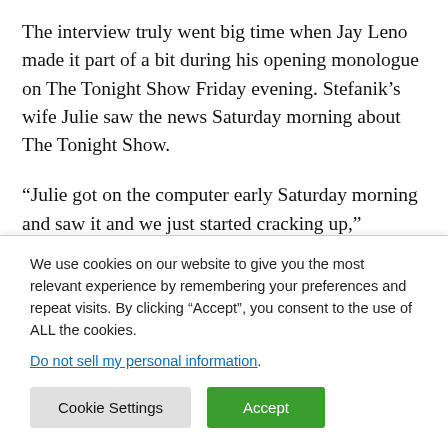The interview truly went big time when Jay Leno made it part of a bit during his opening monologue on The Tonight Show Friday evening. Stefanik's wife Julie saw the news Saturday morning about The Tonight Show.
“Julie got on the computer early Saturday morning and saw it and we just started cracking up,” Stefanik said. “We thought it was pretty funny. We were laughing probably as loud as anybody else was when they saw it. I’m a good
We use cookies on our website to give you the most relevant experience by remembering your preferences and repeat visits. By clicking “Accept”, you consent to the use of ALL the cookies.
Do not sell my personal information.